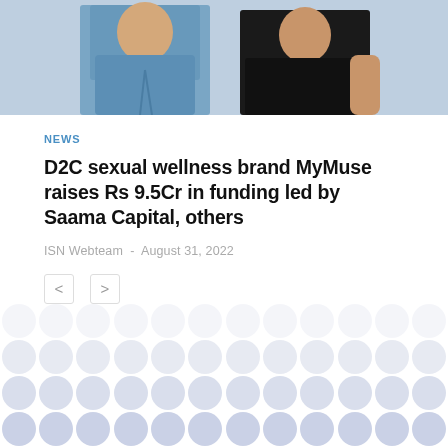[Figure (photo): Two people standing side by side — one wearing a light blue denim shirt, the other in a black outfit — against a light blue-grey background.]
NEWS
D2C sexual wellness brand MyMuse raises Rs 9.5Cr in funding led by Saama Capital, others
ISN Webteam  -  August 31, 2022